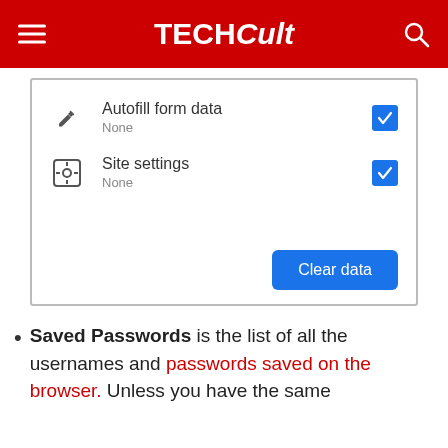TECHCult
[Figure (screenshot): Browser clear browsing data dialog showing two rows: 'Autofill form data' with pencil icon and blue checkbox checked, 'Site settings' with settings gear icon and blue checkbox checked, and a blue 'Clear data' button at the bottom right.]
Saved Passwords is the list of all the usernames and passwords saved on the browser. Unless you have the same